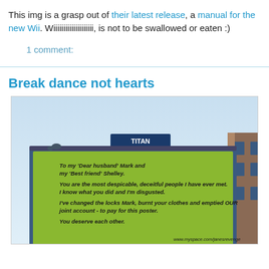This img is a grasp out of their latest release, a manual for the new Wii. Wiiiiiiiiiiiiiiiiiiii, is not to be swallowed or eaten :)
1 comment:
Break dance not hearts
[Figure (photo): Photo of a TITAN outdoor billboard displaying a message: 'To my Dear husband Mark and my Best friend Shelley. You are the most despicable, deceitful people I have ever met. I know what you did and I'm disgusted. I've changed the locks Mark, burnt your clothes and emptied OUR joint account - to pay for this poster. You deserve each other. www.myspace.com/janesrevenge']